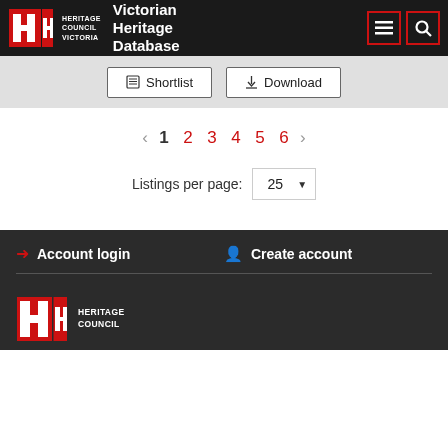Heritage Council Victoria — Victorian Heritage Database
Shortlist   Download
‹  1  2  3  4  5  6  ›
Listings per page: 25
Account login   Create account
[Figure (logo): Heritage Council Victoria logo in footer]